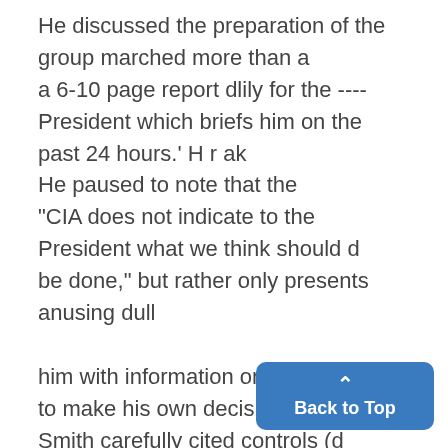He discussed the preparation of the group marched more than a a 6-10 page report dlily for the ---- President which briefs him on the past 24 hours.' H r ak He paused to note that the "CIA does not indicate to the President what we think should d be done," but rather only presents anusing dull him with information on which, to make his own decision. Smith carefully cited controls (d from page 1)